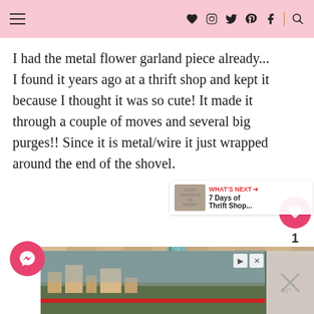Navigation bar with hamburger menu and social icons: heart, instagram, twitter, pinterest, facebook, search
I had the metal flower garland piece already... I found it years ago at a thrift shop and kept it because I thought it was so cute! It made it through a couple of moves and several big purges!! Since it is metal/wire it just wrapped around the end of the shovel.
[Figure (photo): Close-up photo of a metal/wire turquoise flower garland wrapped around what appears to be a shovel handle against a wooden fence background]
WHAT'S NEXT → 7 Days of Thrift Shop...